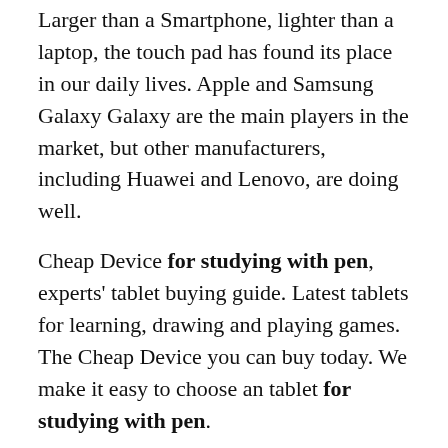Larger than a Smartphone, lighter than a laptop, the touch pad has found its place in our daily lives. Apple and Samsung Galaxy Galaxy are the main players in the market, but other manufacturers, including Huawei and Lenovo, are doing well.
Cheap Device for studying with pen, experts' tablet buying guide. Latest tablets for learning, drawing and playing games. The Cheap Device you can buy today. We make it easy to choose an tablet for studying with pen.
Choosing the Cheap Device for studying with pen requires one to choose from a variety of options available. You have to be sure that you're